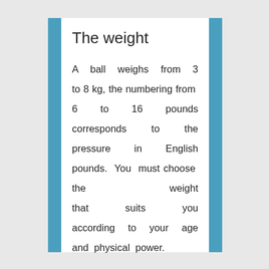The weight
A ball weighs from 3 to 8 kg, the numbering from 6 to 16 pounds corresponds to the pressure in English pounds. You must choose the weight that suits you according to your age and physical power.